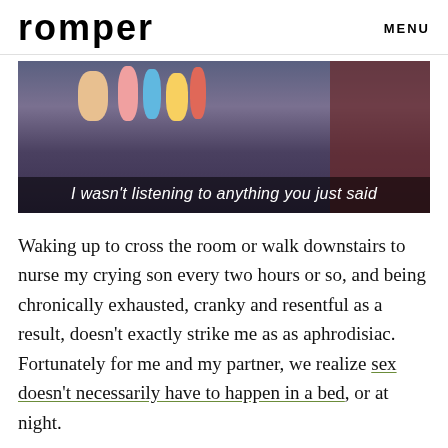romper   MENU
[Figure (screenshot): Screenshot from a TV show or video with subtitle text 'I wasn't listening to anything you just said' overlaid at the bottom. Scene shows colorful objects on a table, person in dark clothing.]
Waking up to cross the room or walk downstairs to nurse my crying son every two hours or so, and being chronically exhausted, cranky and resentful as a result, doesn't exactly strike me as as aphrodisiac. Fortunately for me and my partner, we realize sex doesn't necessarily have to happen in a bed, or at night.
ADVERTISEMENT